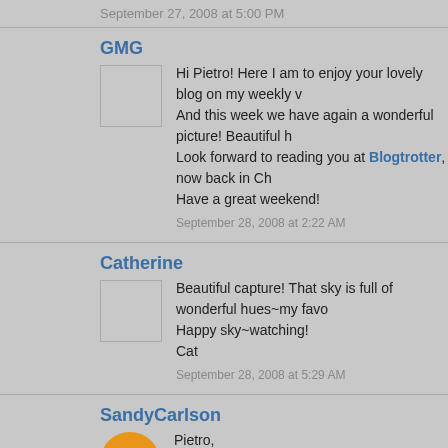September 27, 2008 at 5:00 PM
GMG
Hi Pietro! Here I am to enjoy your lovely blog on my weekly v... And this week we have again a wonderful picture! Beautiful h... Look forward to reading you at Blogtrotter, now back in Cha... Have a great weekend!
September 28, 2008 at 2:22 AM
Catherine
Beautiful capture! That sky is full of wonderful hues~my favo... Happy sky~watching!
Cat
September 28, 2008 at 5:29 AM
SandyCarlson
Pietro,
Thank you for your regular visits to my blog. I do appreciate t...